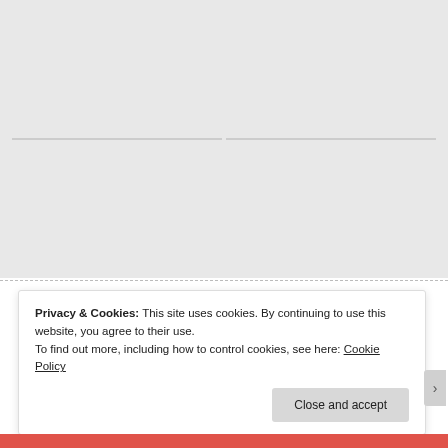[Figure (illustration): Book cover of 'A Court of Thorns and Roses' by Sarah J. Maas. Red background with golden ornate bird/phoenix decoration, yellow title text, yellow author name at bottom. Quote from USA Today at top.]
[Figure (illustration): Book cover of 'Shadow and Bone' by Leigh Bardugo. Gray/blue-gray background with dark gothic title text and white antler decorations, dark silhouette of buildings at bottom with red spires. Quote at top.]
Privacy & Cookies: This site uses cookies. By continuing to use this website, you agree to their use.
To find out more, including how to control cookies, see here: Cookie Policy
Close and accept